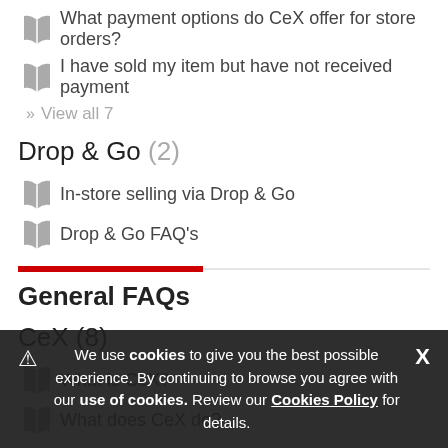What payment options do CeX offer for store orders?
I have sold my item but have not received payment
» View all 7
Drop & Go (2)
In-store selling via Drop & Go
Drop & Go FAQ's
General FAQs
CeX (8)
What is CeX?
What does CeX do?
How can I find my nearest CeX store?
Where did the store/brand name CeX come from?
What products does the company focus on for CeX st
View all 8
We use cookies to give you the best possible experience. By continuing to browse you agree with our use of cookies. Review our Cookies Policy for details.